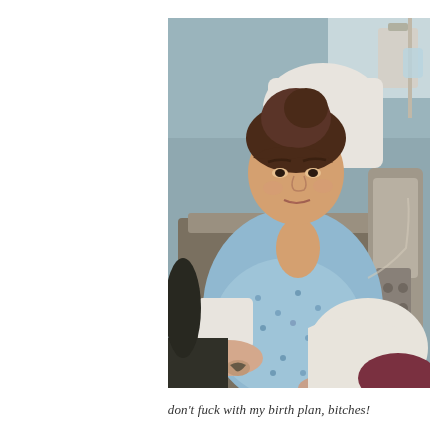[Figure (photo): A pregnant woman in a hospital gown sitting reclined in a hospital bed, with brown hair pulled up, a wrist tattoo, and medical equipment visible in the background. She appears to be in labor.]
don't fuck with my birth plan, bitches!